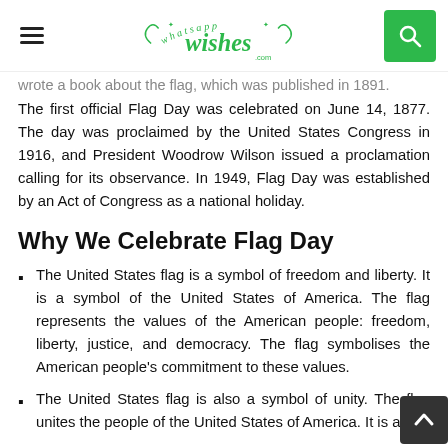WhatsApp Wishes - hamburger menu, logo, search
wrote a book about the flag, which was published in 1891. The first official Flag Day was celebrated on June 14, 1877. The day was proclaimed by the United States Congress in 1916, and President Woodrow Wilson issued a proclamation calling for its observance. In 1949, Flag Day was established by an Act of Congress as a national holiday.
Why We Celebrate Flag Day
The United States flag is a symbol of freedom and liberty. It is a symbol of the United States of America. The flag represents the values of the American people: freedom, liberty, justice, and democracy. The flag symbolises the American people's commitment to these values.
The United States flag is also a symbol of unity. The flag unites the people of the United States of America. It is a